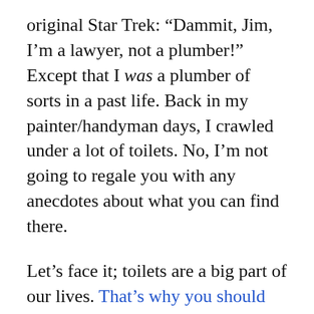original Star Trek: “Dammit, Jim, I’m a lawyer, not a plumber!” Except that I was a plumber of sorts in a past life. Back in my painter/handyman days, I crawled under a lot of toilets. No, I’m not going to regale you with any anecdotes about what you can find there.
Let’s face it; toilets are a big part of our lives. That’s why you should know how they work.
If you are experiencing a leak in the supply tube or supply line, the spray or dripping will likely occur at the fixture connecting to the tank or the pipe coming from the wall. There should be a